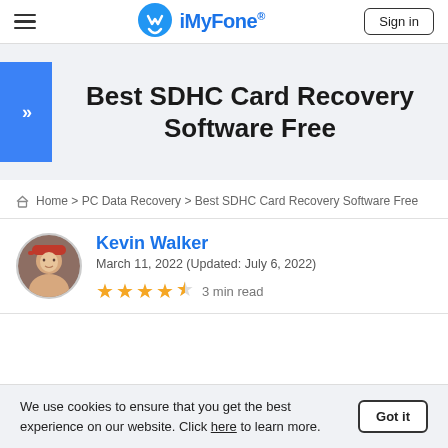iMyFone® | Sign in
Best SDHC Card Recovery Software Free
Home > PC Data Recovery > Best SDHC Card Recovery Software Free
Kevin Walker
March 11, 2022 (Updated: July 6, 2022)
★★★★½ 3 min read
We use cookies to ensure that you get the best experience on our website. Click here to learn more. Got it